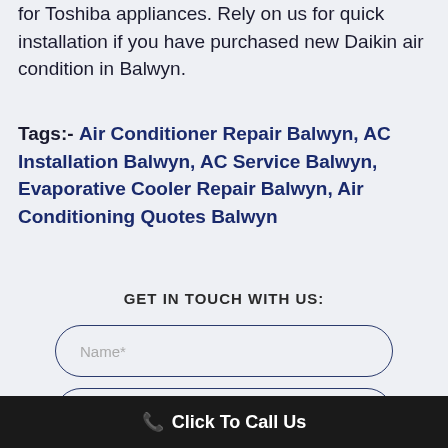for Toshiba appliances. Rely on us for quick installation if you have purchased new Daikin air condition in Balwyn.
Tags:- Air Conditioner Repair Balwyn, AC Installation Balwyn, AC Service Balwyn, Evaporative Cooler Repair Balwyn, Air Conditioning Quotes Balwyn
GET IN TOUCH WITH US:
Name*
Email*
Click To Call Us